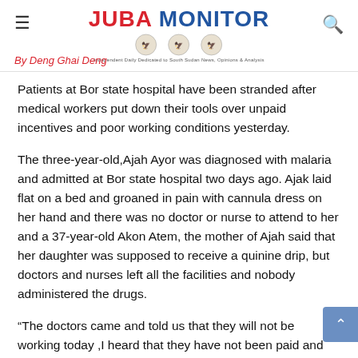JUBA MONITOR
By Deng Ghai Deng
Patients at Bor state hospital have been stranded after medical workers put down their tools over unpaid incentives and poor working conditions yesterday.
The three-year-old,Ajah Ayor was diagnosed with malaria and admitted at Bor state hospital two days ago. Ajak laid flat on a bed and groaned in pain with cannula dress on her hand and there was no doctor or nurse to attend to her and a 37-year-old Akon Atem, the mother of Ajah said that her daughter was supposed to receive a quinine drip, but doctors and nurses left all the facilities and nobody administered the drugs.
“The doctors came and told us that they will not be working today ,I heard that they have not been paid and that’s why they are not working and nowIdon’t  know how we will be